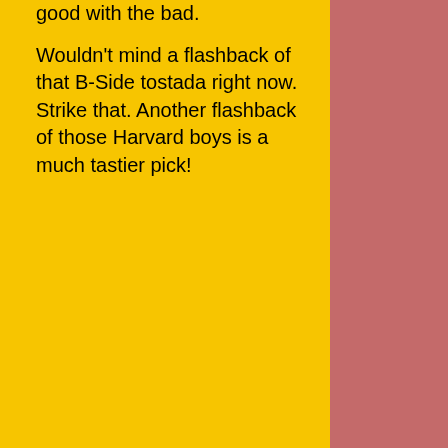good with the bad.

Wouldn't mind a flashback of that B-Side tostada right now. Strike that. Another flashback of those Harvard boys is a much tastier pick!
Posted at 10:45 AM in Travels | Permalink | Comments (0) | TrackBack (0)
[Figure (other): Reblog (0) button with recycling icon]
July 04, 2006
It's A Wacky, Wacky World
[Figure (photo): Photo of a white ramekin or ceramic dish, partially visible]